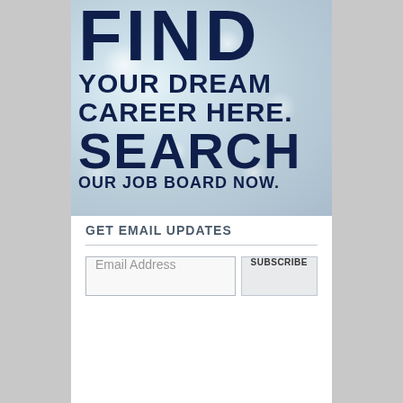[Figure (infographic): Job board advertisement banner with bokeh/sparkle background. Large bold navy text reads: FIND YOUR DREAM CAREER HERE. SEARCH OUR JOB BOARD NOW.]
GET EMAIL UPDATES
Email Address
SUBSCRIBE